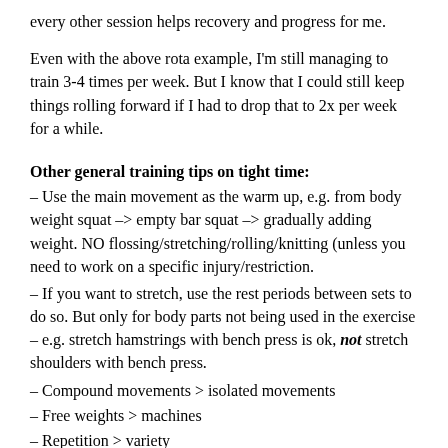every other session helps recovery and progress for me.
Even with the above rota example, I'm still managing to train 3-4 times per week. But I know that I could still keep things rolling forward if I had to drop that to 2x per week for a while.
Other general training tips on tight time:
– Use the main movement as the warm up, e.g. from body weight squat –> empty bar squat –> gradually adding weight. NO flossing/stretching/rolling/knitting (unless you need to work on a specific injury/restriction.
– If you want to stretch, use the rest periods between sets to do so. But only for body parts not being used in the exercise – e.g. stretch hamstrings with bench press is ok, not stretch shoulders with bench press.
– Compound movements > isolated movements
– Free weights > machines
– Repetition > variety